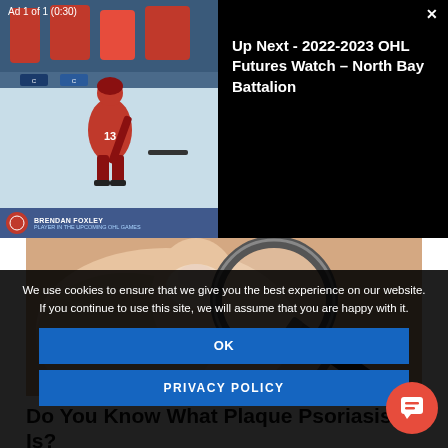Ad 1 of 1 (0:30)
[Figure (screenshot): Hockey video player thumbnail showing player on ice rink in red uniform, with blue team banner at bottom showing player name. Black area to the right shows 'Up Next - 2022-2023 OHL Futures Watch – North Bay Battalion']
Up Next - 2022-2023 OHL Futures Watch – North Bay Battalion
[Figure (photo): Close-up photo of a hand/skin being examined with a magnifying glass, suggesting skin condition examination for psoriasis advertisement]
Do You Know What Plaque Psoriasis Is?
We use cookies to ensure that we give you the best experience on our website. If you continue to use this site, we will assume that you are happy with it.
OK
PRIVACY POLICY